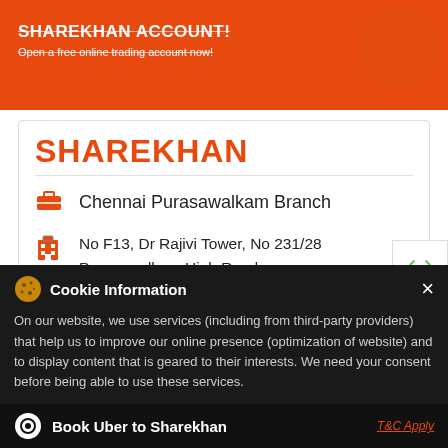[Figure (screenshot): Orange Sharekhan banner with text 'SHAREKHAN ACCOUNT!' and 'Open a free online trading account now!']
SHAREKHAN
Chennai Purasawalkam Branch
No F13, Dr Rajivi Tower, No 231/28 Purasawalkam High Road Chennai - 600007
Opposite Gangadeeshwar Temple Tank
Cookie Information
On our website, we use services (including from third-party providers) that help us to improve our online presence (optimization of website) and to display content that is geared to their interests. We need your consent before being able to use these services.
Book Uber to Sharekhan
T&C Apply